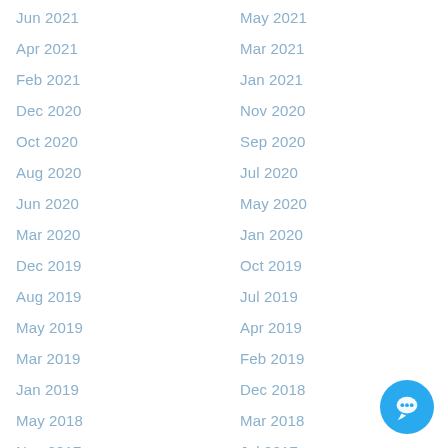Jun 2021
May 2021
Apr 2021
Mar 2021
Feb 2021
Jan 2021
Dec 2020
Nov 2020
Oct 2020
Sep 2020
Aug 2020
Jul 2020
Jun 2020
May 2020
Mar 2020
Jan 2020
Dec 2019
Oct 2019
Aug 2019
Jul 2019
May 2019
Apr 2019
Mar 2019
Feb 2019
Jan 2019
Dec 2018
May 2018
Mar 2018
Nov 2017
Jul 2017